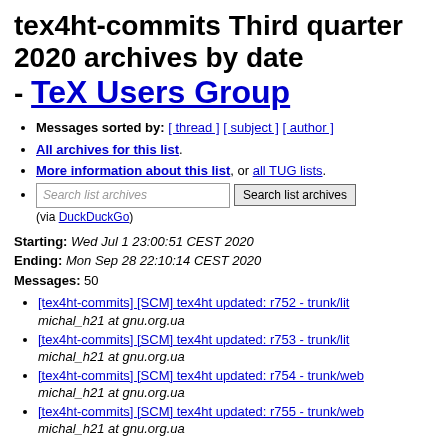tex4ht-commits Third quarter 2020 archives by date - TeX Users Group
Messages sorted by: [ thread ] [ subject ] [ author ]
All archives for this list.
More information about this list, or all TUG lists.
Search list archives (via DuckDuckGo)
Starting: Wed Jul 1 23:00:51 CEST 2020
Ending: Mon Sep 28 22:10:14 CEST 2020
Messages: 50
[tex4ht-commits] [SCM] tex4ht updated: r752 - trunk/lit
michal_h21 at gnu.org.ua
[tex4ht-commits] [SCM] tex4ht updated: r753 - trunk/lit
michal_h21 at gnu.org.ua
[tex4ht-commits] [SCM] tex4ht updated: r754 - trunk/web
michal_h21 at gnu.org.ua
[tex4ht-commits] [SCM] tex4ht updated: r755 - trunk/web
michal_h21 at gnu.org.ua